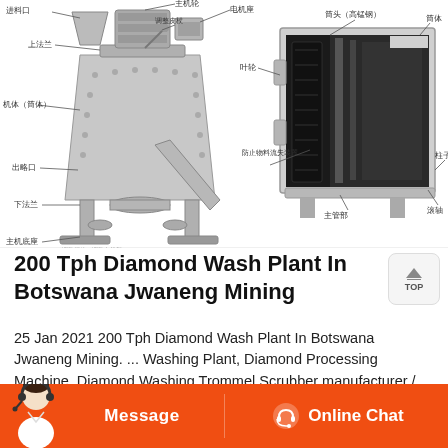[Figure (engineering-diagram): Two engineering diagrams with Chinese labels: left shows a vertical crusher/mill machine with labeled parts (进料口, 主机轮, 电机座, 调整皮杖, 上法兰, 机体(筒体), 出略口, 下法兰, 主机底座, and adjustment notes); right shows an internal view of the machine with labeled parts (筒头(高锰钢), 筒体, 叶轮, 防止物料流失装置, 主管部, 柱子, 滚轴)]
200 Tph Diamond Wash Plant In Botswana Jwaneng Mining
25 Jan 2021 200 Tph Diamond Wash Plant In Botswana Jwaneng Mining. ... Washing Plant, Diamond Processing Machine, Diamond Washing Trommel Scrubber manufacturer / supplier in China, offering Botswana 200 Tph Diamond Washing Drum Scrubber, 35 Years Mineral Separator Small Gold Shaking Tabke, Small Gravity Separator Table 6s Gold Shaking Table.
Message | Online Chat